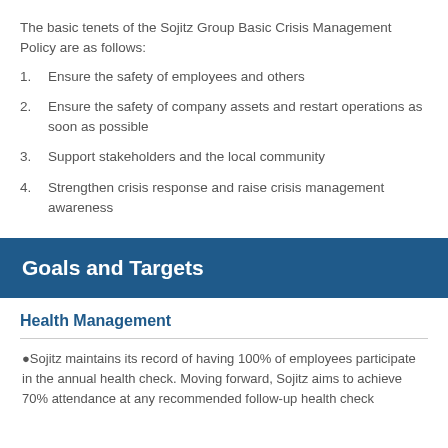The basic tenets of the Sojitz Group Basic Crisis Management Policy are as follows:
1. Ensure the safety of employees and others
2. Ensure the safety of company assets and restart operations as soon as possible
3. Support stakeholders and the local community
4. Strengthen crisis response and raise crisis management awareness
Goals and Targets
Health Management
●Sojitz maintains its record of having 100% of employees participate in the annual health check. Moving forward, Sojitz aims to achieve 70% attendance at any recommended follow-up health check